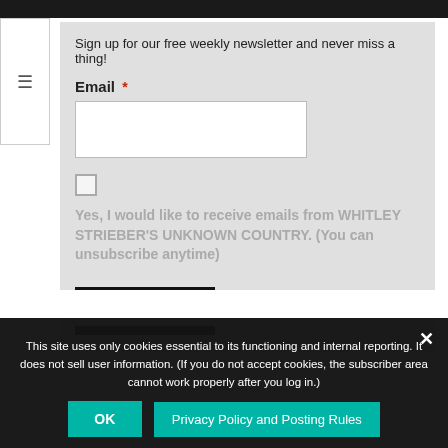Sign up for our free weekly newsletter and never miss a thing!
Email *
Yes, I would like to receive emails from WHITLEY STRIEBER'S UNKNOWN COUNTRY. (You can unsubscribe anytime)
SIGN UP
This site uses only cookies essential to its functioning and internal reporting. It does not sell user information. (If you do not accept cookies, the subscriber area cannot work properly after you log in.)
OK
Privacy Policy and Posting Rules